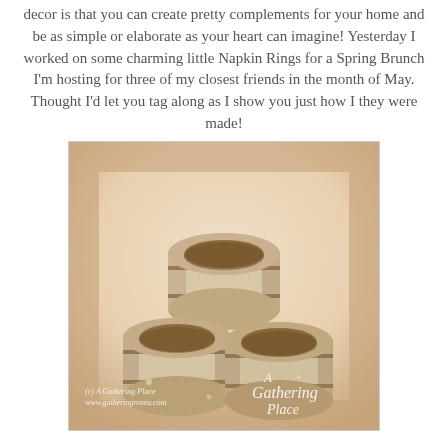decor is that you can create pretty complements for your home and be as simple or elaborate as your heart can imagine!  Yesterday I worked on some charming little Napkin Rings for a Spring Brunch I'm hosting for three of my closest friends in the month of May.  Thought I'd let you tag along as I show you just how I they were made!
[Figure (photo): Three wooden napkin rings stacked in a pyramid arrangement on a soft fabric background. The rings are cream/off-white colored with a distressed finish and dark brown lines. Bottom has two rings side by side, top has one ring. Watermark text reads '(c) A Gathering Place www.gatheringrosea.com' on the left and 'A Gathering Place' in italic script on the right.]